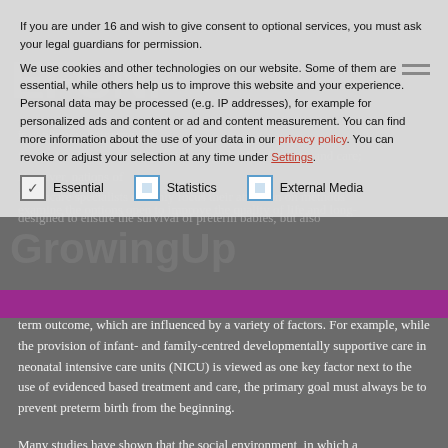If you are under 16 and wish to give consent to optional services, you must ask your legal guardians for permission.
We use cookies and other technologies on our website. Some of them are essential, while others help us to improve this website and your experience. Personal data may be processed (e.g. IP addresses), for example for personalized ads and content or ad and content measurement. You can find more information about the use of your data in our privacy policy. You can revoke or adjust your selection at any time under Settings.
Essential
Statistics
External Media
term outcome, which are influenced by a variety of factors. For example, while the provision of infant- and family-centred developmentally supportive care in neonatal intensive care units (NICU) is viewed as one key factor next to the use of evidenced based treatment and care, the primary goal must always be to prevent preterm birth from the beginning.
Many studies have shown that the social environment, in which a